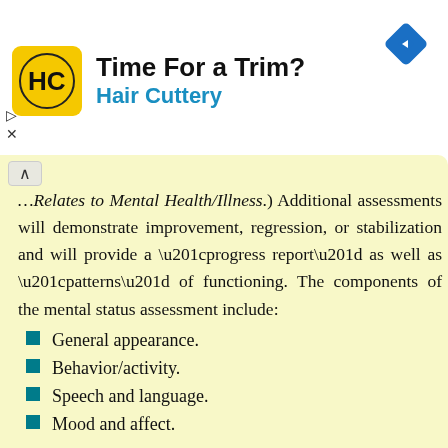[Figure (logo): Hair Cuttery advertisement banner with logo, 'Time For a Trim?' headline, and navigation icon]
…Relates to Mental Health/Illness.) Additional assessments will demonstrate improvement, regression, or stabilization and will provide a “progress report” as well as “patterns” of functioning. The components of the mental status assessment include:
General appearance.
Behavior/activity.
Speech and language.
Mood and affect.